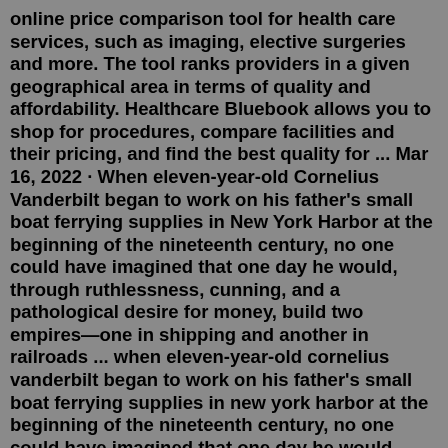online price comparison tool for health care services, such as imaging, elective surgeries and more. The tool ranks providers in a given geographical area in terms of quality and affordability. Healthcare Bluebook allows you to shop for procedures, compare facilities and their pricing, and find the best quality for ... Mar 16, 2022 · When eleven-year-old Cornelius Vanderbilt began to work on his father's small boat ferrying supplies in New York Harbor at the beginning of the nineteenth century, no one could have imagined that one day he would, through ruthlessness, cunning, and a pathological desire for money, build two empires—one in shipping and another in railroads ... when eleven-year-old cornelius vanderbilt began to work on his father's small boat ferrying supplies in new york harbor at the beginning of the nineteenth century, no one could have imagined that one day he would, through ruthlessness, cunning, and a pathological desire for money, build two empires—one in shipping and another in railroads—that …Gloria Laura